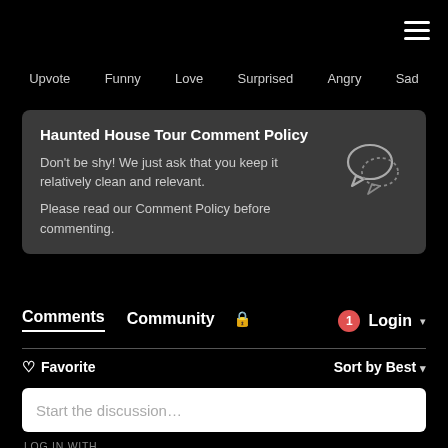☰ (hamburger menu)
Upvote  Funny  Love  Surprised  Angry  Sad
Haunted House Tour Comment Policy
Don't be shy! We just ask that you keep it relatively clean and relevant.
Please read our Comment Policy before commenting.
Comments  Community  🔒  1  Login ▾
♡ Favorite    Sort by Best ▾
Start the discussion…
LOG IN WITH
D  f  🐦  G